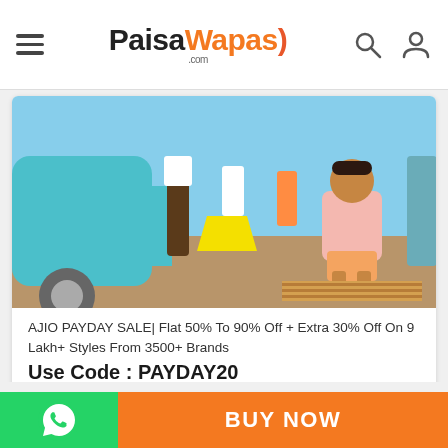PaisaWapas.com
[Figure (photo): Fashion photo showing people in colorful summer outfits standing near a turquoise vintage car outdoors]
AJIO PAYDAY SALE| Flat 50% To 90% Off + Extra 30% Off On 9 Lakh+ Styles From 3500+ Brands
Use Code : PAYDAY20
Upto 8% PW Cashback
[Figure (logo): AJIO brand logo in black bold text]
INSTYLER MICROMAX CANVAS KNIGHT
BUY NOW